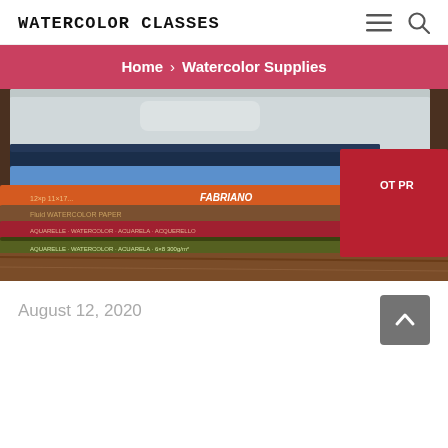WATERCOLOR CLASSES
Home › Watercolor Supplies
[Figure (photo): Stack of watercolor paper pads and sketchbooks including Fabriano brand, photographed on a wooden surface.]
August 12, 2020